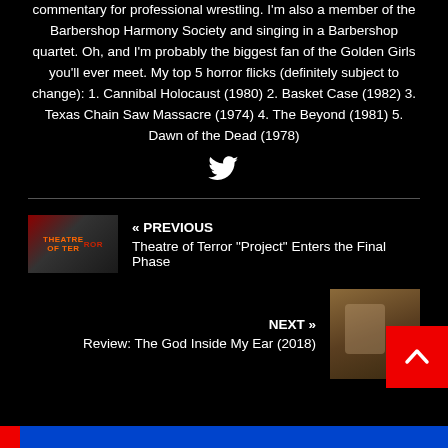commentary for professional wrestling. I'm also a member of the Barbershop Harmony Society and singing in a Barbershop quartet. Oh, and I'm probably the biggest fan of the Golden Girls you'll ever meet. My top 5 horror flicks (definitely subject to change): 1. Cannibal Holocaust (1980) 2. Basket Case (1982) 3. Texas Chain Saw Massacre (1974) 4. The Beyond (1981) 5. Dawn of the Dead (1978)
[Figure (illustration): Twitter bird icon in white]
« PREVIOUS
Theatre of Terror "Project" Enters the Final Phase
[Figure (photo): Thumbnail image for Theatre of Terror article with dark horror-themed graphic and text]
NEXT »
Review: The God Inside My Ear (2018)
[Figure (photo): Thumbnail for The God Inside My Ear review, showing a person in a dark room]